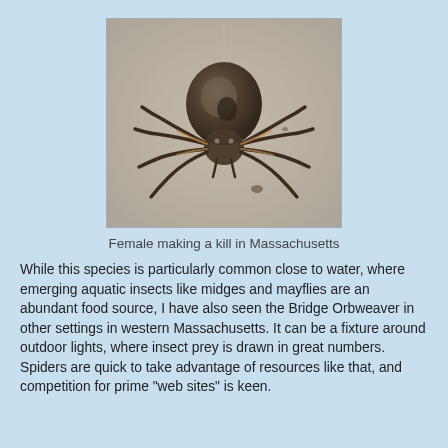[Figure (photo): Close-up photograph of a female Bridge Orbweaver spider making a kill, photographed in Massachusetts. The spider is suspended, showing its large dark round abdomen and banded legs. Background is gray/beige.]
Female making a kill in Massachusetts
While this species is particularly common close to water, where emerging aquatic insects like midges and mayflies are an abundant food source, I have also seen the Bridge Orbweaver in other settings in western Massachusetts. It can be a fixture around outdoor lights, where insect prey is drawn in great numbers. Spiders are quick to take advantage of resources like that, and competition for prime "web sites" is keen.